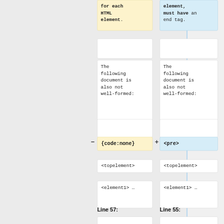for each HTML element.
element, must have an end tag.
The following document is also not well-formed:
The following document is also not well-formed:
{code:none}
<pre>
<topelement>
<topelement>
<element1> …
<element1> …
Line 57:
Line 55: